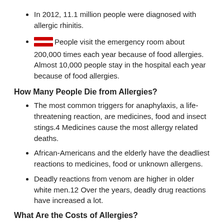In 2012, 11.1 million people were diagnosed with allergic rhinitis.
[REDACTED] People visit the emergency room about 200,000 times each year because of food allergies. Almost 10,000 people stay in the hospital each year because of food allergies.
How Many People Die from Allergies?
The most common triggers for anaphylaxis, a life-threatening reaction, are medicines, food and insect stings.4 Medicines cause the most allergy related deaths.
African-Americans and the elderly have the deadliest reactions to medicines, food or unknown allergens.
Deadly reactions from venom are higher in older white men.12 Over the years, deadly drug reactions have increased a lot.
What Are the Costs of Allergies?
In 2010, Americans with nasal swelling spent about $17.5 billion on health costs. They have also lost more than 6 million work and school days and made 16 million visits to